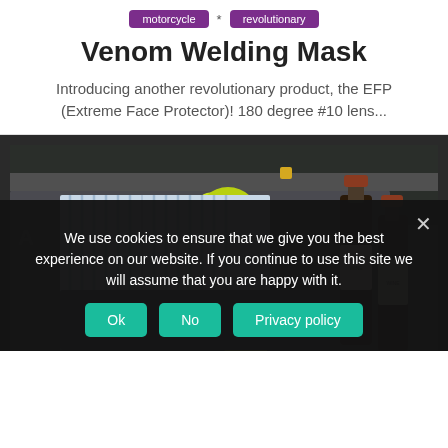motorcycle
revolutionary
Venom Welding Mask
Introducing another revolutionary product, the EFP (Extreme Face Protector)! 180 degree #10 lens...
[Figure (photo): Open suitcase containing a folded striped shirt, yellow rolled item, folded dark clothing, and two wine bottles on a wooden surface background]
We use cookies to ensure that we give you the best experience on our website. If you continue to use this site we will assume that you are happy with it.
Ok
No
Privacy policy